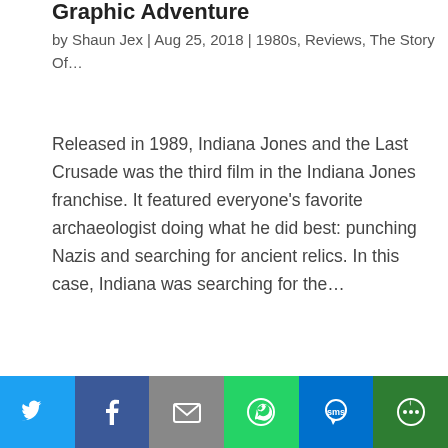Graphic Adventure
by Shaun Jex | Aug 25, 2018 | 1980s, Reviews, The Story Of…
Released in 1989, Indiana Jones and the Last Crusade was the third film in the Indiana Jones franchise. It featured everyone's favorite archaeologist doing what he did best: punching Nazis and searching for ancient relics. In this case, Indiana was searching for the…
[Figure (illustration): Cover art for Zak McKracken game showing stylized text 'ZAK McKRACKEN' in orange/red letters on a dark background with golden decorative figures]
Social share buttons: Twitter, Facebook, Email, WhatsApp, SMS, More